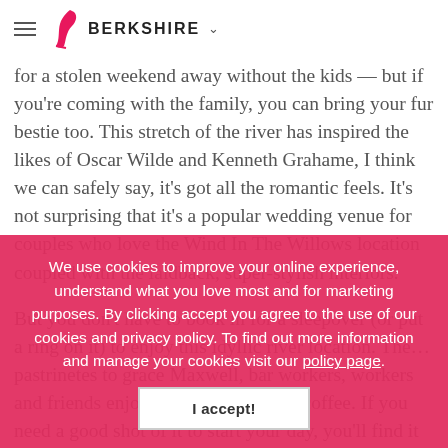BERKSHIRE
for a stolen weekend away without the kids — but if you're coming with the family, you can bring your fur bestie too. This stretch of the river has inspired the likes of Oscar Wilde and Kenneth Grahame, I think we can safely say, it's got all the romantic feels. It's not surprising that it's a popular wedding venue for couples who love the Wind In The Willows location coupled with the laidback, super-stylish interiors.
But you don't have to book in for a sleepover (or put a ring on it) to enjoy this idyllic river location. The… well understand what you love most and for marketing purposes. By clicking accept you agree to the use of our cookies and privacy policy. To find out more information and manage your pastrinetes to grace Maxwell, bar workers, workers and friends enjoying the exceptional coffee. If you need a good shot of it to start your day, you'll find it here.
We use cookies to improve your online experience, understand what you love most and for marketing purposes. By clicking accept you agree to the use of our cookies and privacy policy. To find out more information and manage your cookies visit our policy page.